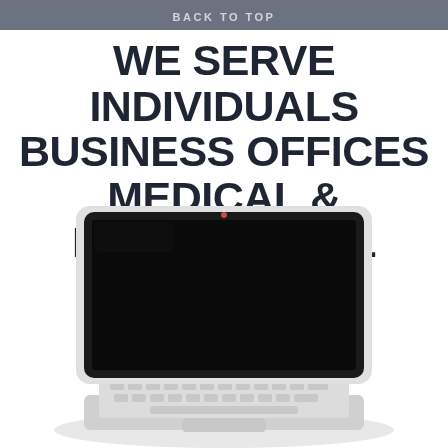BACK TO TOP
WE SERVE INDIVIDUALS BUSINESS OFFICES MEDICAL & EDUCATIONAL INSTITUTES
[Figure (illustration): White laptop (MacBook-style) open with black screen, viewed from a slight angle, placed on a white background]